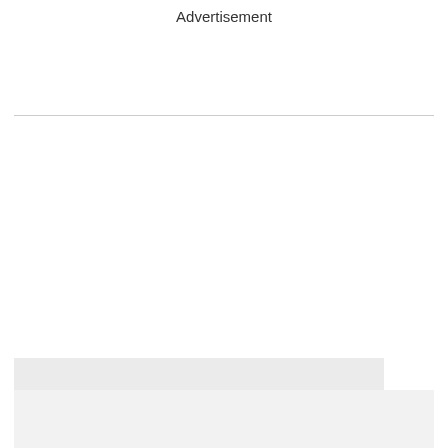Advertisement
[Figure (other): Empty white advertisement placeholder area above horizontal divider line]
[Figure (other): Empty white advertisement placeholder area below horizontal divider line]
Advertisement
[Figure (other): Advertisement banner with blue text reading 'azulu-' and partially visible 'Open' below, on light grey background]